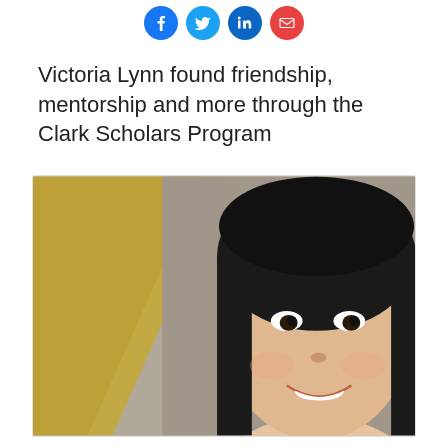[Figure (infographic): Social media share icons: Facebook (blue), Twitter (light blue), LinkedIn (dark blue), Email (orange-red), displayed in a row centered at the top]
Victoria Lynn found friendship, mentorship and more through the Clark Scholars Program
[Figure (photo): A smiling young Asian woman with long black hair, photographed outdoors in front of a blurred stone building. The left portion of the image features a gold/tan diagonal geometric design element.]